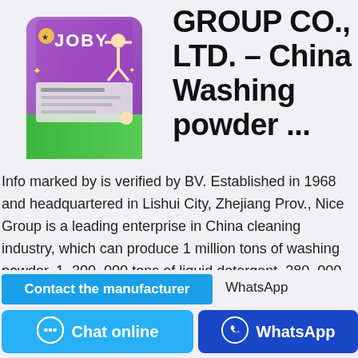[Figure (photo): Purple/green washing powder bag with 'JOBY' brand label and person with raised arms graphic]
GROUP CO., LTD. – China Washing powder ...
Info marked by is verified by BV. Established in 1968 and headquartered in Lishui City, Zhejiang Prov., Nice Group is a leading enterprise in China cleaning industry, which can produce 1 million tons of washing powder, 1, 300, 000 tons of liquid detergent, 280, 000 tons of soap, 20, 000 tons of industrial glycerin, and 5 hundred million tubes ...
Contact the manufacturer
WhatsApp
Chat online
WhatsApp